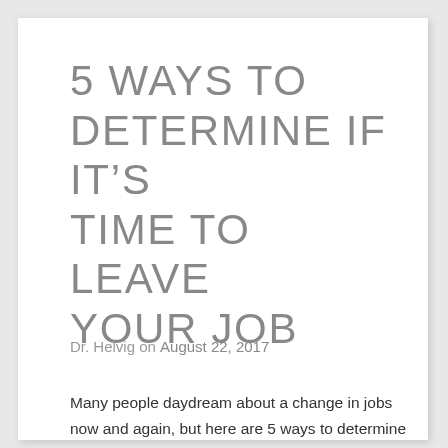5 WAYS TO DETERMINE IF IT'S TIME TO LEAVE YOUR JOB
Dr. Helvig on August 22, 2017
Many people daydream about a change in jobs now and again, but here are 5 ways to determine if it might be time to finally take the leap: